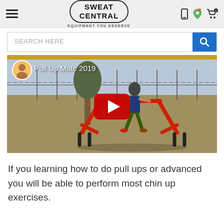Sweat Central — Equipment You Deserve
[Figure (screenshot): Search bar with 'SEARCH HERE' placeholder and blue search button]
[Figure (screenshot): YouTube video thumbnail titled 'Pull Up Mate 2019' showing a man using a pull-up bar outdoors, with a red YouTube play button overlay]
If you learning how to do pull ups or advanced you will be able to perform most chin up exercises.